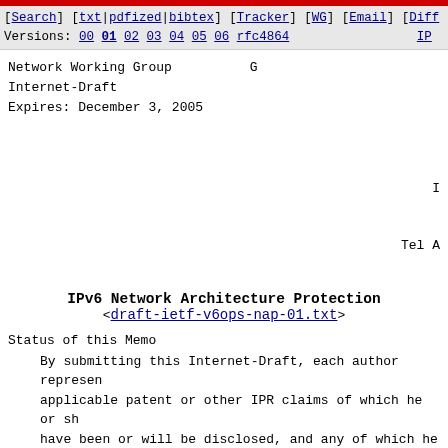[Search] [txt|pdfized|bibtex] [Tracker] [WG] [Email] [Diff
Versions: 00 01 02 03 04 05 06 rfc4864                    IP
Network Working Group
Internet-Draft
Expires: December 3, 2005
I

Tel A
IPv6 Network Architecture Protection
<draft-ietf-v6ops-nap-01.txt>
Status of this Memo
By submitting this Internet-Draft, each author represen applicable patent or other IPR claims of which he or sh have been or will be disclosed, and any of which he or aware will be disclosed, in accordance with Section 6 o
Internet-Drafts are working documents of the Internet E Task Force (IETF), its areas, and its working groups. other groups may also distribute working documents as I Drafts.